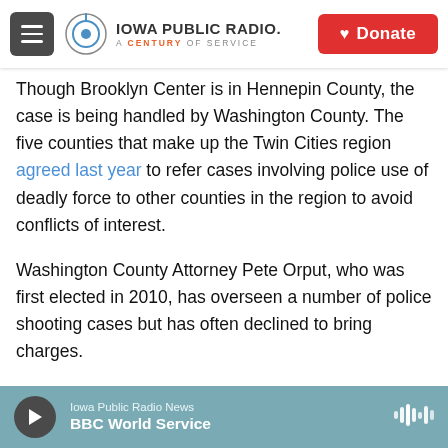Iowa Public Radio. A Century of Service. Donate
Though Brooklyn Center is in Hennepin County, the case is being handled by Washington County. The five counties that make up the Twin Cities region agreed last year to refer cases involving police use of deadly force to other counties in the region to avoid conflicts of interest.
Washington County Attorney Pete Orput, who was first elected in 2010, has overseen a number of police shooting cases but has often declined to bring charges.
In a 2012 case where officers shot and killed 19-year-old Mark Henderson as he tried to escape
Iowa Public Radio News — BBC World Service